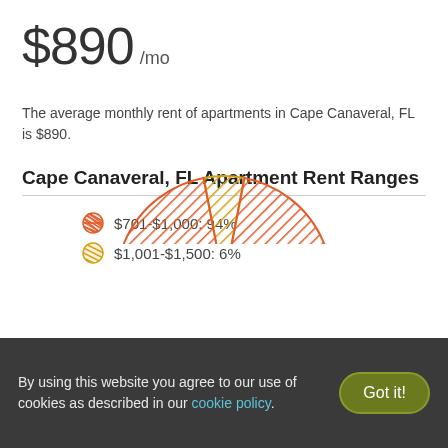$890 /mo
The average monthly rent of apartments in Cape Canaveral, FL is $890.
Cape Canaveral, FL Apartment Rent Ranges
[Figure (pie-chart): Cape Canaveral, FL Apartment Rent Ranges]
By using this website you agree to our use of cookies as described in our cookie policy.